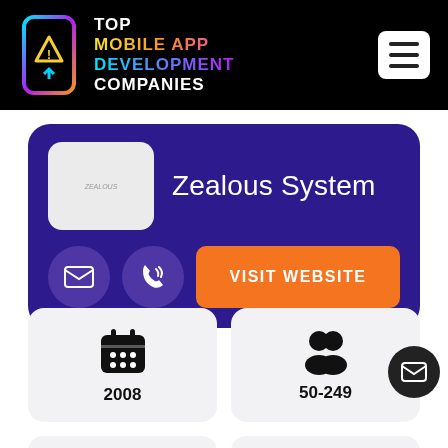TOP MOBILE APP DEVELOPMENT COMPANIES
[Figure (logo): Zealous System company logo on white rounded square background]
Zealous System
VISIT WEBSITE
2008
50-249